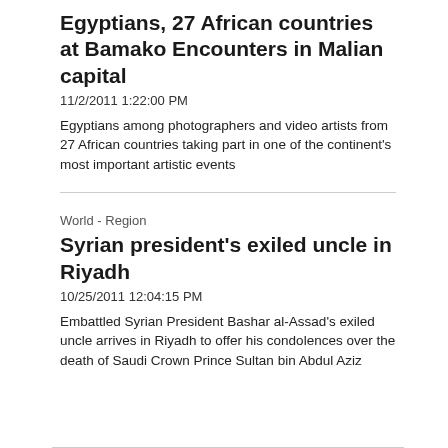Egyptians, 27 African countries at Bamako Encounters in Malian capital
11/2/2011 1:22:00 PM
Egyptians among photographers and video artists from 27 African countries taking part in one of the continent's most important artistic events
World - Region
Syrian president's exiled uncle in Riyadh
10/25/2011 12:04:15 PM
Embattled Syrian President Bashar al-Assad's exiled uncle arrives in Riyadh to offer his condolences over the death of Saudi Crown Prince Sultan bin Abdul Aziz